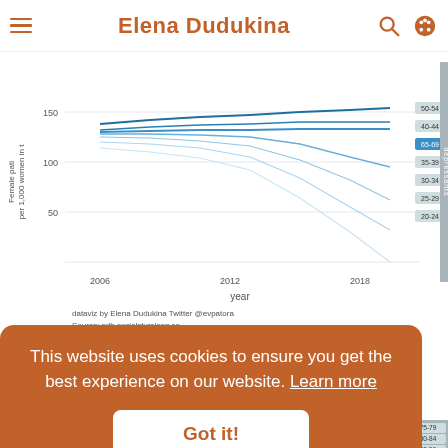Elena Dudukina
[Figure (line-chart): Line chart showing female patients per 1000 women over years 2006-2018 by age groups (20-24, 25-29, 30-34, 35-39, 40-44, 50-54, 65-69) for antidepressants. Multiple colored lines trending generally upward or relatively flat.]
dataviz by Elena Dudukina Twitter @evpatora
Source: sdb.socialstyrelsen.se
##
[Figure (screenshot): Cookie consent banner overlay with orange background saying 'This website uses cookies to ensure you get the best experience on our website. Learn more' and a 'Got it!' button]
[Figure (line-chart): Partial bottom chart showing green lines for Non-selective category with age group labels 75-79, 80-84, 55-59, 60-64, 70-74]